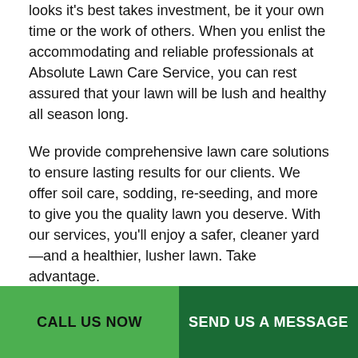looks it's best takes investment, be it your own time or the work of others. When you enlist the accommodating and reliable professionals at Absolute Lawn Care Service, you can rest assured that your lawn will be lush and healthy all season long.
We provide comprehensive lawn care solutions to ensure lasting results for our clients. We offer soil care, sodding, re-seeding, and more to give you the quality lawn you deserve. With our services, you'll enjoy a safer, cleaner yard—and a healthier, lusher lawn. Take advantage.
Invest in the best lawn mowing services in Selah and beyond. You won't be disappointed.
Call Today For Grass Cutting
CALL US NOW
SEND US A MESSAGE